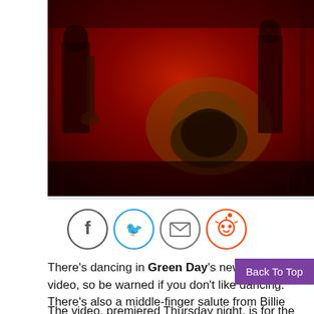[Figure (photo): Dark red-toned photo of musicians/band on stage with instruments visible including what appears to be horns and drums, silhouetted against red lighting]
[Figure (infographic): Social sharing icons: Facebook (f), Twitter (bird), Email (envelope), Reddit (alien head) — each in a circle outline]
There's dancing in Green Day's new music video, so be warned if you don't like dancing. There's also a middle-finger salute from Billie Joe Armstrong, as he delivers a line about there being nobody to trust.
The video, premiered Thursday night, is for the